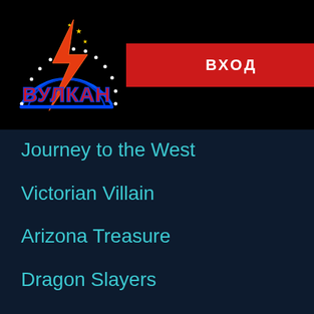[Figure (logo): Vulkan casino logo with blue neon arch, lightning bolt, stars, and red Cyrillic text ВУЛКАН]
ВХОД
Journey to the West
Victorian Villain
Arizona Treasure
Dragon Slayers
Euro Golden Cup
Gumball Blaster